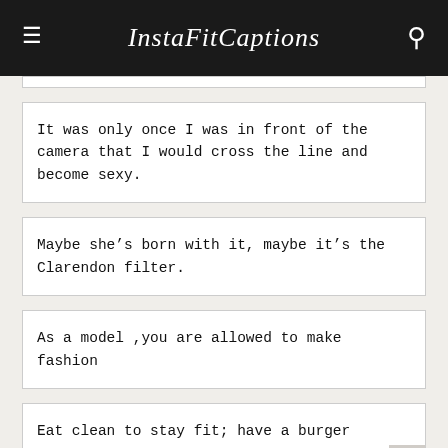InstaFitCaptions
It was only once I was in front of the camera that I would cross the line and become sexy.
Maybe she’s born with it, maybe it’s the Clarendon filter.
As a model ,you are allowed to make fashion
Eat clean to stay fit; have a burger to stay sane.